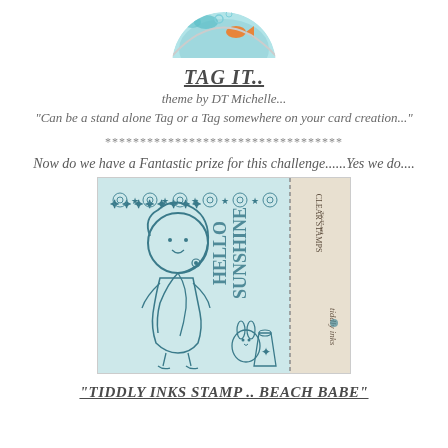[Figure (illustration): Partial circular image at top center showing a goldfish bowl or aquatic scene with teal and orange elements]
TAG IT..
theme by DT Michelle...
"Can be a stand alone Tag or a Tag somewhere on your card creation..."
**********************************
Now do we have a Fantastic prize for this challenge......Yes we do....
[Figure (illustration): Tiddly Inks stamp product image called Beach Babe: a cute girl stamp with big hair, starfish border, Hello Sunshine text, bunny and bucket, on light blue background with packaging label Clear Stamps 3x4 set, Tiddly Inks]
"TIDDLY INKS STAMP .. BEACH BABE"